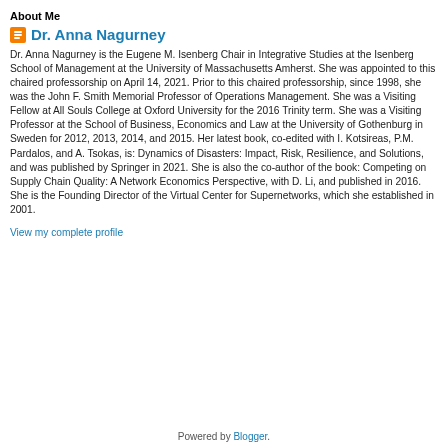About Me
Dr. Anna Nagurney
Dr. Anna Nagurney is the Eugene M. Isenberg Chair in Integrative Studies at the Isenberg School of Management at the University of Massachusetts Amherst. She was appointed to this chaired professorship on April 14, 2021. Prior to this chaired professorship, since 1998, she was the John F. Smith Memorial Professor of Operations Management. She was a Visiting Fellow at All Souls College at Oxford University for the 2016 Trinity term. She was a Visiting Professor at the School of Business, Economics and Law at the University of Gothenburg in Sweden for 2012, 2013, 2014, and 2015. Her latest book, co-edited with I. Kotsireas, P.M. Pardalos, and A. Tsokas, is: Dynamics of Disasters: Impact, Risk, Resilience, and Solutions, and was published by Springer in 2021. She is also the co-author of the book: Competing on Supply Chain Quality: A Network Economics Perspective, with D. Li, and published in 2016. She is the Founding Director of the Virtual Center for Supernetworks, which she established in 2001.
View my complete profile
Powered by Blogger.